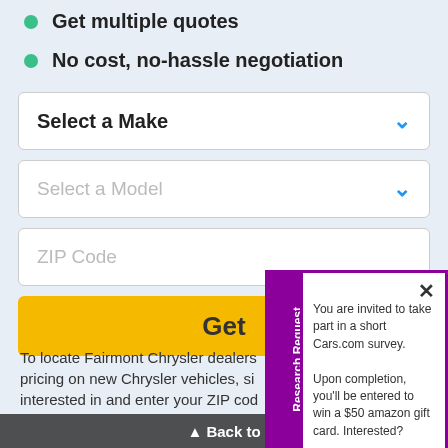Get multiple quotes
No cost, no-hassle negotiation
Select a Make (dropdown)
Select a Model (dropdown)
ZIP Code (input)
Get (button)
[Figure (screenshot): Research Request popup modal with text: You are invited to take part in a short Cars.com survey. Upon completion, you'll be entered to win a $50 amazon gift card. Interested? Click here to participate]
To locate Fairmont Chrysler dealers pricing on new Chrysler vehicles, si interested in and enter your ZIP cod
Back to